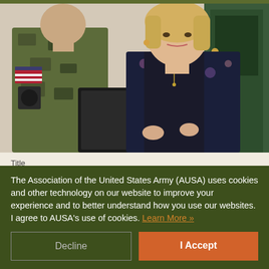[Figure (photo): A U.S. Army soldier in camouflage uniform with American flag patch on shoulder, holding a black folder/binder, conversing with a blonde woman in a dark floral blazer, standing in front of a building with a green door.]
Title
Wormuth: Army Remains Busy, Ready
The Association of the United States Army (AUSA) uses cookies and other technology on our website to improve your experience and to better understand how you use our websites. I agree to AUSA's use of cookies. Learn More »
Decline
I Accept